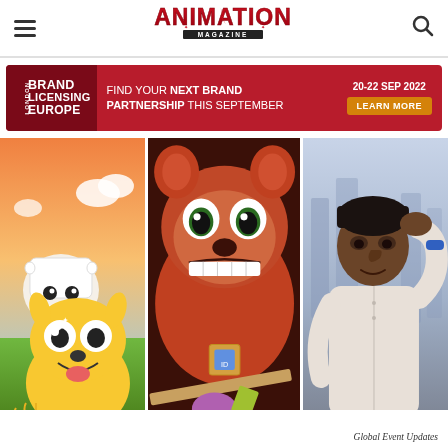Animation Magazine
[Figure (infographic): Animation Magazine logo in red with stylized lightning bolt lettering and 'MAGAZINE' subtitle]
[Figure (infographic): Brand Licensing Europe advertisement banner: 'FIND YOUR NEXT BRAND PARTNERSHIP THIS SEPTEMBER' with date 20-22 SEP 2022 and LEARN MORE button]
[Figure (photo): Adventure Time characters Finn (white humanoid with backpack) and Jake (yellow dog) against orange/pink sky background]
[Figure (photo): Turning Red movie still: red panda character with wide scared expression in school classroom setting]
[Figure (photo): Animated character of a man in white shirt scratching head in urban setting]
Global Event Updates